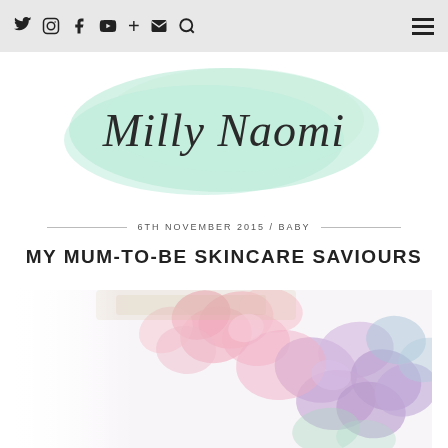Navigation bar with social icons and menu
Milly Naomi
6TH NOVEMBER 2015 / BABY
MY MUM-TO-BE SKINCARE SAVIOURS
[Figure (photo): Pastel pink and purple hydrangea flowers on a white background]